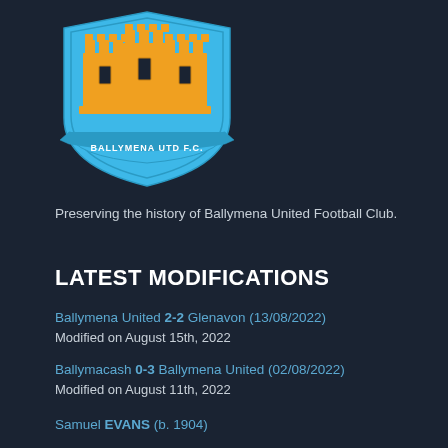[Figure (logo): Ballymena United F.C. crest — blue shield with three gold castle towers, blue ribbon banner at bottom reading 'BALLYMENA UTD F.C.']
Preserving the history of Ballymena United Football Club.
LATEST MODIFICATIONS
Ballymena United 2-2 Glenavon (13/08/2022)
Modified on August 15th, 2022
Ballymacash 0-3 Ballymena United (02/08/2022)
Modified on August 11th, 2022
Samuel EVANS (b. 1904)
Modified on August 10th, 2022